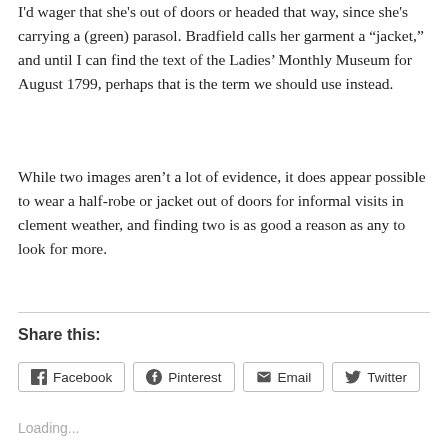I'd wager that she's out of doors or headed that way, since she's carrying a (green) parasol. Bradfield calls her garment a “jacket,” and until I can find the text of the Ladies’ Monthly Museum for August 1799, perhaps that is the term we should use instead.
While two images aren’t a lot of evidence, it does appear possible to wear a half-robe or jacket out of doors for informal visits in clement weather, and finding two is as good a reason as any to look for more.
Share this:
[Figure (other): Social share buttons for Facebook, Pinterest, Email, and Twitter]
Loading...